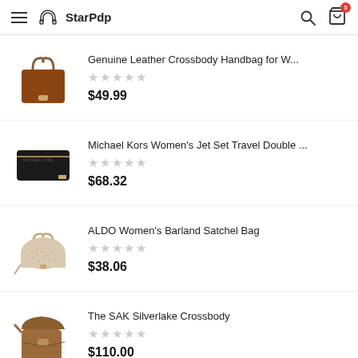StarPdp
Genuine Leather Crossbody Handbag for W...
★★★★★
$49.99
Michael Kors Women's Jet Set Travel Double ...
★★★★★
$68.32
ALDO Women's Barland Satchel Bag
★★★★★
$38.06
The SAK Silverlake Crossbody
★★★★★
$110.00